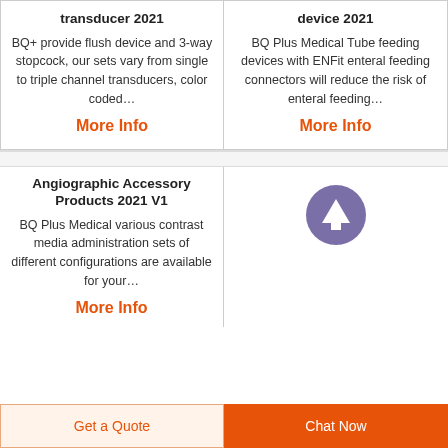transducer 2021
BQ+ provide flush device and 3-way stopcock, our sets vary from single to triple channel transducers, color coded…
More Info
device 2021
BQ Plus Medical Tube feeding devices with ENFit enteral feeding connectors will reduce the risk of enteral feeding…
More Info
Angiographic Accessory Products 2021 V1
BQ Plus Medical various contrast media administration sets of different configurations are available for your…
More Info
[Figure (illustration): Purple circular button with white upward arrow icon]
Get a Quote
Chat Now